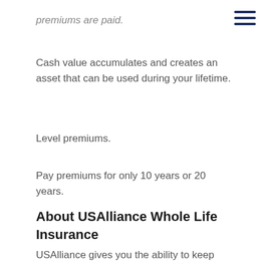premiums are paid.
Cash value accumulates and creates an asset that can be used during your lifetime.
Level premiums.
Pay premiums for only 10 years or 20 years.
About USAlliance Whole Life Insurance
USAlliance gives you the ability to keep